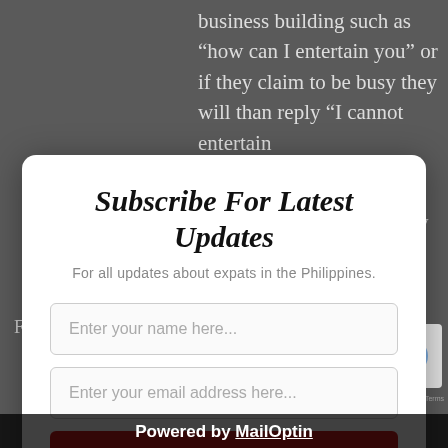business building such as “how can I entertain you” or if they claim to be busy they will than reply “I cannot entertain
Subscribe For Latest Updates
For all updates about expats in the Philippines.
Enter your name here...
Enter your email address here...
SUBSCRIBE NOW
We promise not to spam you. You can unsubscribe at any time.
Feeling...
A term most commonly used by yo... call someone who one thinks is try... act or be something they’re not. Usually
Powered by MailOptin